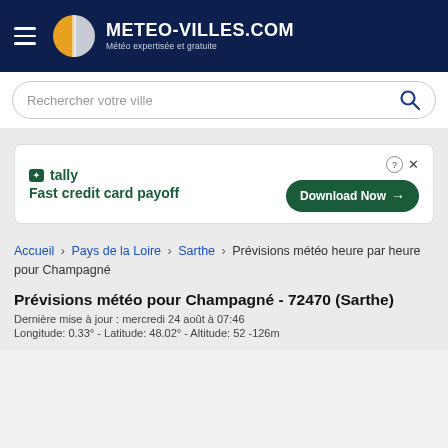METEO-VILLES.COM — Météo expertisée et gratuite
[Figure (screenshot): Search bar with placeholder text 'Rechercher votre ville' and search icon]
[Figure (screenshot): Advertisement for Tally — Fast credit card payoff with Download Now button]
Accueil › Pays de la Loire › Sarthe › Prévisions météo heure par heure pour Champagné
Prévisions météo pour Champagné - 72470 (Sarthe)
Dernière mise à jour : mercredi 24 août à 07:46
Longitude: 0.33° - Latitude: 48.02° - Altitude: 52 -126m